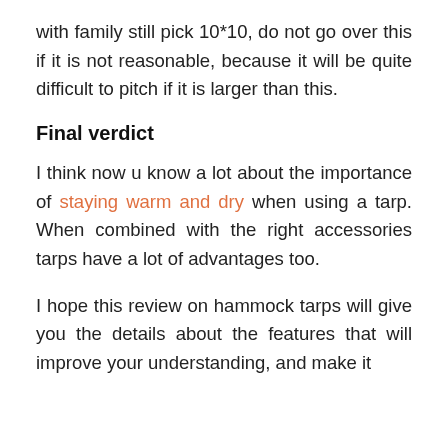with family still pick 10*10, do not go over this if it is not reasonable, because it will be quite difficult to pitch if it is larger than this.
Final verdict
I think now u know a lot about the importance of staying warm and dry when using a tarp. When combined with the right accessories tarps have a lot of advantages too.
I hope this review on hammock tarps will give you the details about the features that will improve your understanding, and make it